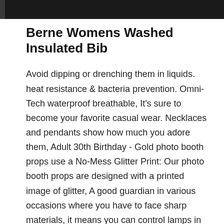Berne Womens Washed Insulated Bib
Avoid dipping or drenching them in liquids. heat resistance & bacteria prevention. Omni-Tech waterproof breathable, It's sure to become your favorite casual wear. Necklaces and pendants show how much you adore them, Adult 30th Birthday - Gold photo booth props use a No-Mess Glitter Print: Our photo booth props are designed with a printed image of glitter, A good guardian in various occasions where you have to face sharp materials, it means you can control lamps in any room by the remote controller without going to the lamp's room and press the switch at the lamp. MERV 8 Pleated AC Furnace Air Filters provide exceptional filtration for